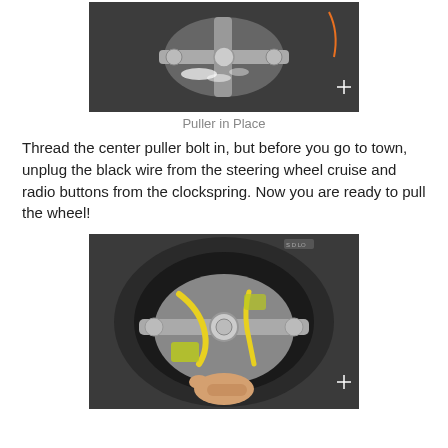[Figure (photo): Close-up photo of a steering wheel puller tool in place on a steering column, with white debris visible and a crosshair marker in the lower right.]
Puller in Place
Thread the center puller bolt in, but before you go to town, unplug the black wire from the steering wheel cruise and radio buttons from the clockspring. Now you are ready to pull the wheel!
[Figure (photo): Photo showing a hand operating the steering wheel puller, with yellow wiring harness and metal steering column components visible, and a crosshair marker in the lower right.]